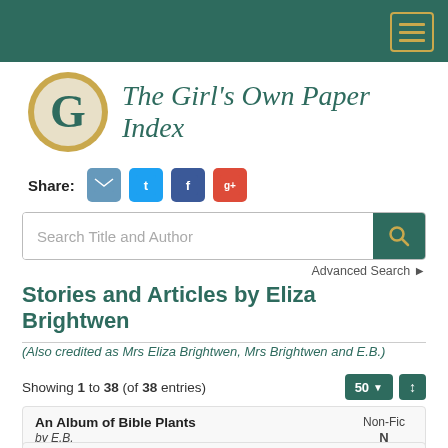The Girl's Own Paper Index — navigation bar
[Figure (logo): The Girl's Own Paper Index logo — gold circle with G letter and teal text]
Share:
Search Title and Author
Advanced Search ▶
Stories and Articles by Eliza Brightwen
(Also credited as Mrs Eliza Brightwen, Mrs Brightwen and E.B.)
Showing 1 to 38 (of 38 entries)
| Title/Author/Volume | Category |
| --- | --- |
| An Album of Bible Plants
by E.B.
Volume 20 (1899), p633 | Non-Fic N |
Chance Glimpses of Natur...